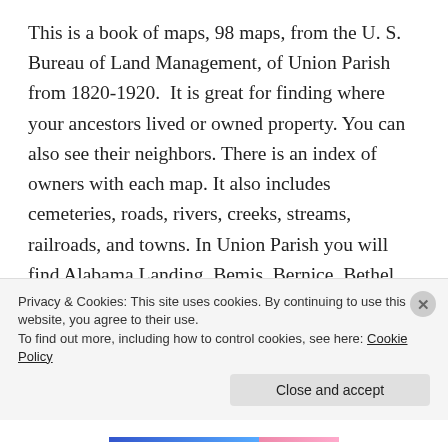This is a book of maps, 98 maps, from the U. S. Bureau of Land Management, of Union Parish from 1820-1920.  It is great for finding where your ancestors lived or owned property. You can also see their neighbors. There is an index of owners with each map. It also includes cemeteries, roads, rivers, creeks, streams, railroads, and towns. In Union Parish you will find Alabama Landing, Bemis, Bernice, Bethel Springs, Brantley Landing, Canbeal, Cane Ridge, Carroll, Cecil, Cherry Ridge, Clayton, Colsons, Conway, Copley, Cox Ferry, Crossroads, Culbertson, D'Arbonne, De Loutre, Dean, Downsville, Evergreen, Farmerville, Gravel, Haile,
Privacy & Cookies: This site uses cookies. By continuing to use this website, you agree to their use.
To find out more, including how to control cookies, see here: Cookie Policy
Close and accept